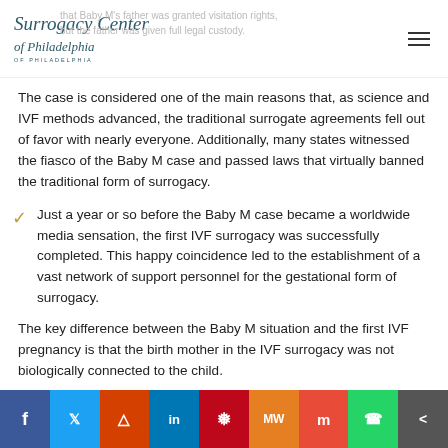Surrogacy Center of Philadelphia
that Baby M's father was granted visitation rights, but the father was given full legal custody.
The case is considered one of the main reasons that, as science and IVF methods advanced, the traditional surrogate agreements fell out of favor with nearly everyone. Additionally, many states witnessed the fiasco of the Baby M case and passed laws that virtually banned the traditional form of surrogacy.
Just a year or so before the Baby M case became a worldwide media sensation, the first IVF surrogacy was successfully completed. This happy coincidence led to the establishment of a vast network of support personnel for the gestational form of surrogacy.
The key difference between the Baby M situation and the first IVF pregnancy is that the birth mother in the IVF surrogacy was not biologically connected to the child.
f | Twitter | Reddit | in | Pinterest | MiW | Mix | WhatsApp | Share